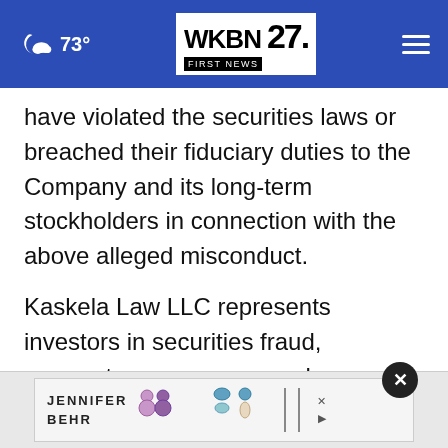73° WKBN FIRST NEWS 27.
have violated the securities laws or breached their fiduciary duties to the Company and its long-term stockholders in connection with the above alleged misconduct.
Kaskela Law LLC represents investors in securities fraud, corporate governance, and merger & acquisition litigation. For additional information about the firm please visit www.kaskelalaw.com. This notice may constitute attor[ney advertising]
[Figure (screenshot): Advertisement banner for JENNIFER BEHR jewelry showing earrings with a close button overlay]